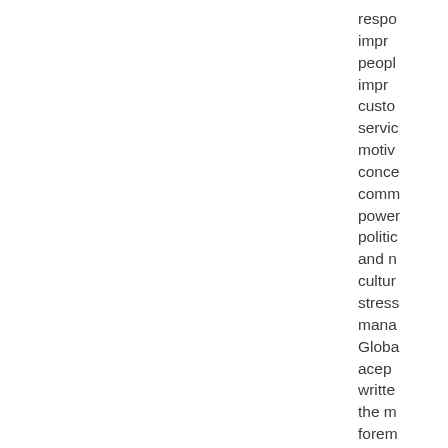respo impr peopl impr custo servic motiv conce comm powe politic and n cultur stress mana Globa acce writte the m forem in the is a n read f